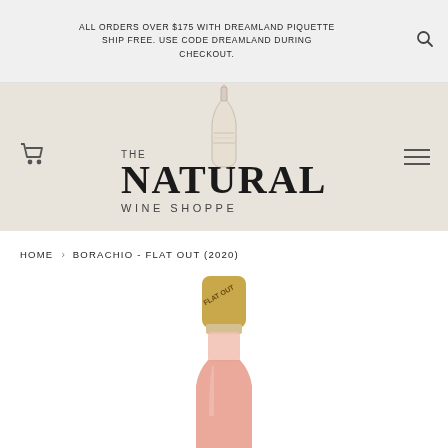ALL ORDERS OVER $175 WITH DREAMLAND PIQUETTE SHIP FREE. USE CODE DREAMLAND DURING CHECKOUT.
[Figure (logo): The Natural Wine Shoppe logo with illustrated wine bottle, THE on top, NATURAL in large serif font, WINE SHOPPE below in spaced caps]
HOME › BORACHIO - FLAT OUT (2020)
[Figure (photo): Top portion of a wine bottle with a cork labeled FLAT OUT and pink/rosé wine visible in the bottle body]